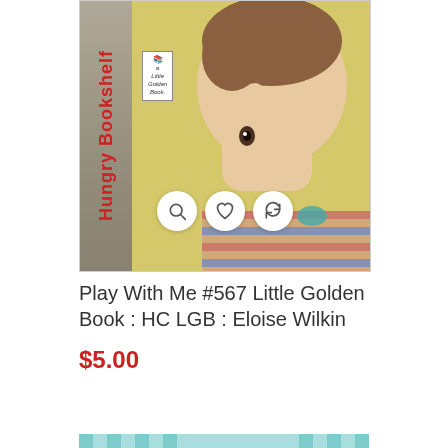[Figure (photo): Product listing image of a Little Golden Book titled 'Play With Me #567' featuring an illustration of a baby peeking through their fingers on the cover, with a book spine reading 'Hungry Bookshelf' in red text. Three action icons (search, heart/wishlist, refresh) appear as white circles overlaid on the image.]
Play With Me #567 Little Golden Book : HC LGB : Eloise Wilkin
$5.00
ADD TO CART
[Figure (photo): Partial view of another Little Golden Book product at the bottom of the page, showing a teal/blue checkered pattern with the 'a Little Golden Book' logo visible.]